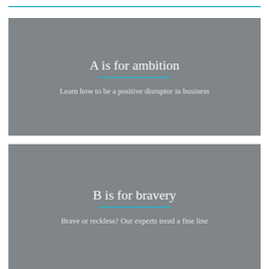A is for ambition
Learn how to be a positive disruptor in business
B is for bravery
Brave or reckless? Our experts tread a fine line